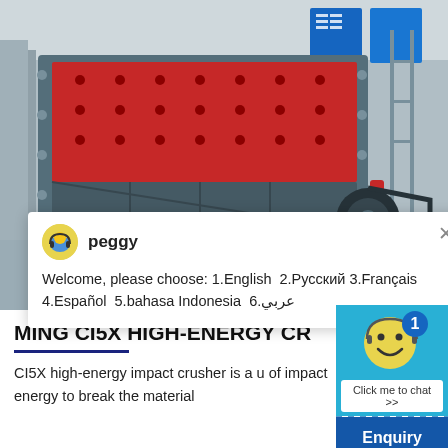[Figure (photo): Industrial CI5X high-energy impact crusher machine photographed in a factory/warehouse setting. The machine is large, grey/metallic with red interior lining, viewed from the front-side angle. Factory background with blue Chinese signage visible.]
peggy
Welcome, please choose: 1.English  2.Русский 3.Français 4.Español  5.bahasa Indonesia  6.عربي
MING CI5X HIGH-ENERGY CR
CI5X high-energy impact crusher is a u of impact energy to break the material
Enquiry
cywaitml @gmail.com